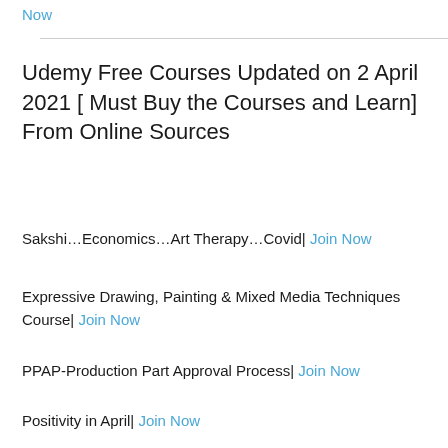Now
Udemy Free Courses Updated on 2 April 2021 [ Must Buy the Courses and Learn] From Online Sources
Sakshi…Economics…Art Therapy…Covid| Join Now
Expressive Drawing, Painting & Mixed Media Techniques Course| Join Now
PPAP-Production Part Approval Process| Join Now
Positivity in April| Join Now